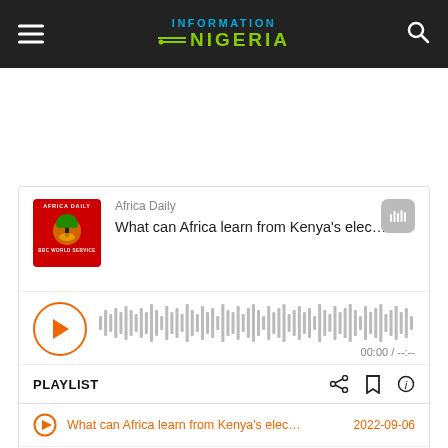INFORMATION NIGERIA
[Figure (screenshot): SoundCloud embedded podcast player widget for Africa Daily BBC World Service podcast, showing episode 'What can Africa learn from Kenya's elec...' with play button, waveform, and timecode 00:00 / --:--]
What can Africa learn from Kenya's elec... 2022-09-06
Is there still a functioning opposition in ... 2022-09-05